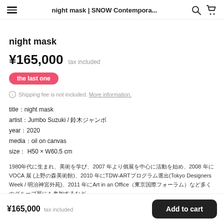night mask | SNOW Contempora...
night mask
¥165,000  tax included
the last one
ℹ Shipping fee is not included. More information.
title：night mask
artist：Jumbo Suzuki / 鈴木ジャンボ
year：2020
media：oil on canvas
size： H50 × W60.5 cm
1980年代に生まれ、美術を学び、2007 年より個展を中心に活動を始め、2008 年にVOCA 展 (上野の森美術館)、2010 年にTDW-ARTプログラム選出(Tokyo Designers Week / 明治神宮外苑)、2011 年にArt in an Office（東京国際フォーラム）など多くのグループ展にも参加するなど
¥165,000  tax included
Add to cart